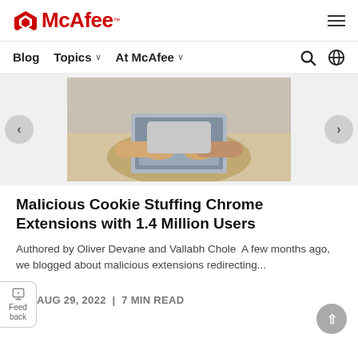McAfee™
Blog  Topics ∨  At McAfee ∨
[Figure (photo): Person sitting with a laptop on their lap, close-up of hands typing on keyboard]
Malicious Cookie Stuffing Chrome Extensions with 1.4 Million Users
Authored by Oliver Devane and Vallabh Chole  A few months ago, we blogged about malicious extensions redirecting...
AUG 29, 2022  |  7 MIN READ